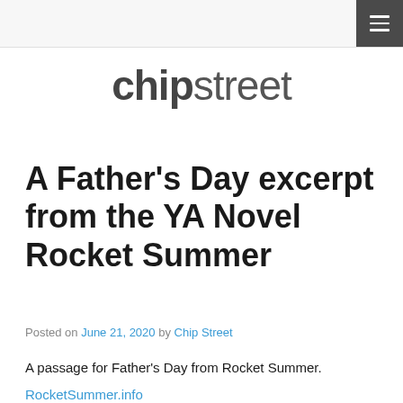chipstreet
chipstreet
A Father's Day excerpt from the YA Novel Rocket Summer
Posted on June 21, 2020 by Chip Street
A passage for Father's Day from Rocket Summer.
RocketSummer.info